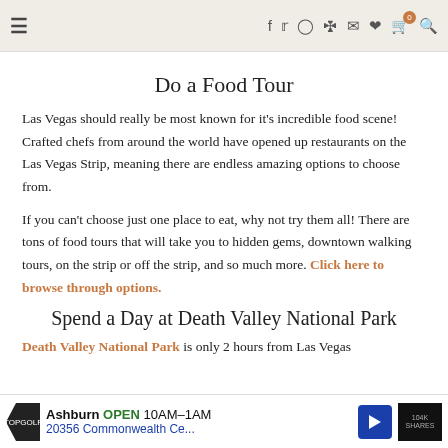Navigation header with hamburger menu and social icons
Do a Food Tour
Las Vegas should really be most known for it's incredible food scene! Crafted chefs from around the world have opened up restaurants on the Las Vegas Strip, meaning there are endless amazing options to choose from.
If you can't choose just one place to eat, why not try them all! There are tons of food tours that will take you to hidden gems, downtown walking tours, on the strip or off the strip, and so much more. Click here to browse through options.
Spend a Day at Death Valley National Park
Death Valley National Park is only 2 hours from Las Vegas
Ashburn OPEN 10AM–1AM 20356 Commonwealth Ce...